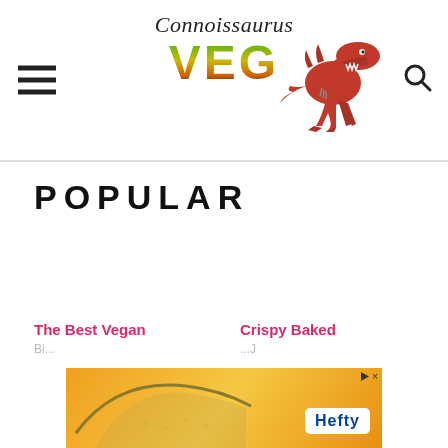Connoissaurus VEG
POPULAR
The Best Vegan
Crispy Baked
[Figure (photo): Advertisement banner with orange/yellow background, Hefty logo, and a curved shape illustration]
[Figure (illustration): Red T-Rex dinosaur logo holding fork, positioned to the right of the VEG text]